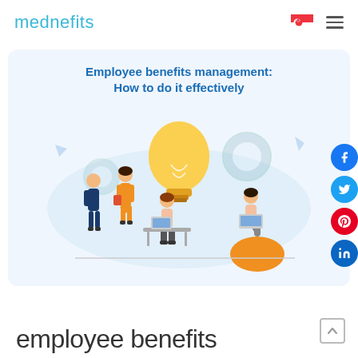mednefits
Employee benefits management: How to do it effectively
[Figure (illustration): Illustration of four people in a workplace setting around a large glowing light bulb, with gear icons in the background on a light blue cloud shape. People are in orange and blue/navy outfits, one sitting at a desk with a laptop, one sitting on a bean bag with a laptop, two standing and talking.]
employee benefits